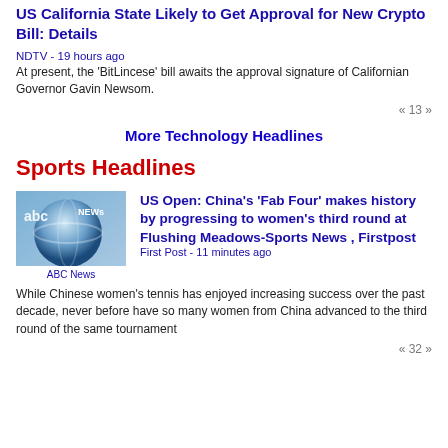US California State Likely to Get Approval for New Crypto Bill: Details
NDTV - 19 hours ago
At present, the 'BitLincese' bill awaits the approval signature of Californian Governor Gavin Newsom.
« 13 »
More Technology Headlines
Sports Headlines
[Figure (logo): ABC News logo thumbnail]
US Open: China's 'Fab Four' makes history by progressing to women's third round at Flushing Meadows-Sports News , Firstpost
First Post - 11 minutes ago
While Chinese women's tennis has enjoyed increasing success over the past decade, never before have so many women from China advanced to the third round of the same tournament
« 32 »